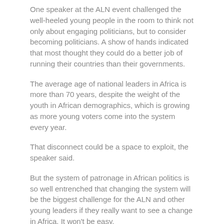One speaker at the ALN event challenged the well-heeled young people in the room to think not only about engaging politicians, but to consider becoming politicians. A show of hands indicated that most thought they could do a better job of running their countries than their governments.
The average age of national leaders in Africa is more than 70 years, despite the weight of the youth in African demographics, which is growing as more young voters come into the system every year.
That disconnect could be a space to exploit, the speaker said.
But the system of patronage in African politics is so well entrenched that changing the system will be the biggest challenge for the ALN and other young leaders if they really want to see a change in Africa. It won't be easy.
Read more...